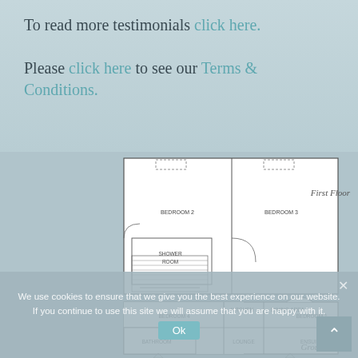To read more testimonials click here. Please click here to see our Terms & Conditions.
[Figure (schematic): First Floor floorplan showing Bedroom 2, Bedroom 3, Shower Room with stairs]
[Figure (schematic): Ground Floor floorplan showing Bedroom 4, Kitchen, Dining Area, Bedroom 1, Bathroom, Lounge, Ensuite]
We use cookies to ensure that we give you the best experience on our website. If you continue to use this site we will assume that you are happy with it.